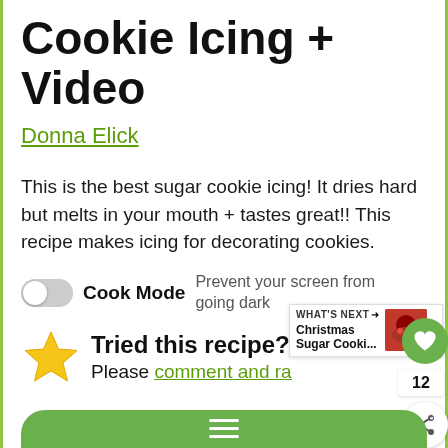Cookie Icing + Video
Donna Elick
This is the best sugar cookie icing! It dries hard but melts in your mouth + tastes great!! This recipe makes icing for decorating cookies.
Cook Mode  Prevent your screen from going dark
Tried this recipe? Please comment and rate
[Figure (screenshot): Green heart favorite button with count 12 and share button on right side]
[Figure (screenshot): What's Next overlay showing Christmas Sugar Cookie thumbnail]
[Figure (other): Green rounded button at bottom]